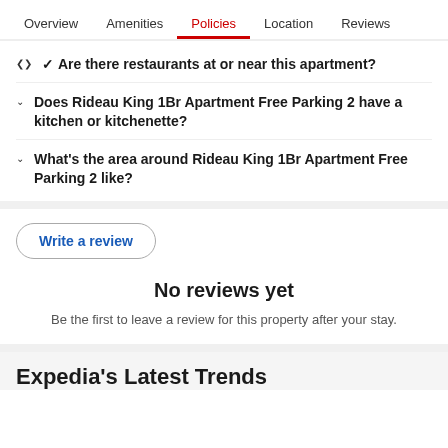Overview  Amenities  Policies  Location  Reviews
Are there restaurants at or near this apartment?
Does Rideau King 1Br Apartment Free Parking 2 have a kitchen or kitchenette?
What's the area around Rideau King 1Br Apartment Free Parking 2 like?
Write a review
No reviews yet
Be the first to leave a review for this property after your stay.
Expedia's Latest Trends